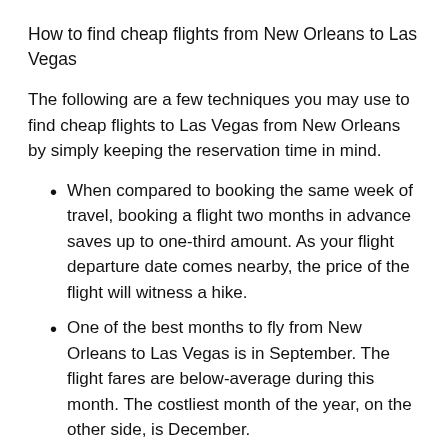How to find cheap flights from New Orleans to Las Vegas
The following are a few techniques you may use to find cheap flights to Las Vegas from New Orleans by simply keeping the reservation time in mind.
When compared to booking the same week of travel, booking a flight two months in advance saves up to one-third amount. As your flight departure date comes nearby, the price of the flight will witness a hike.
One of the best months to fly from New Orleans to Las Vegas is in September. The flight fares are below-average during this month. The costliest month of the year, on the other side, is December.
Also look for flights to Las Vegas on Sundays, as this is the most cost-effective day to fly. The most expensive days are Saturdays.